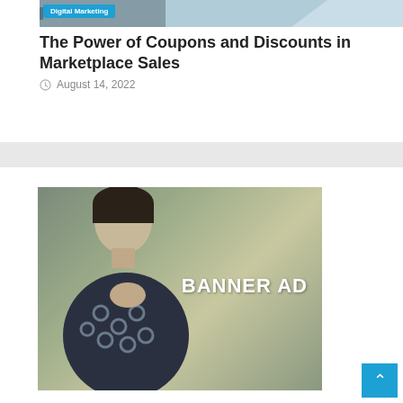[Figure (screenshot): Top portion of a digital marketing blog article card showing a header image with a 'Digital Marketing' badge label on a blue/teal gradient background]
The Power of Coupons and Discounts in Marketplace Sales
August 14, 2022
[Figure (photo): Banner advertisement placeholder showing a young man in a patterned shirt with text 'BANNER AD' overlaid on the right side]